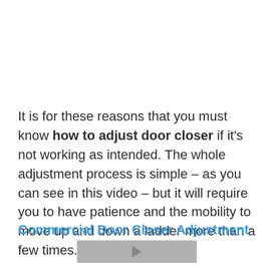It is for these reasons that you must know how to adjust door closer if it's not working as intended. The whole adjustment process is simple – as you can see in this video – but it will require you to have patience and the mobility to move up and down a ladder more than a few times.
[Figure (screenshot): Partially visible video embed section with blue link title 'Commercial Door Closer Adjustment' and a video thumbnail below it]